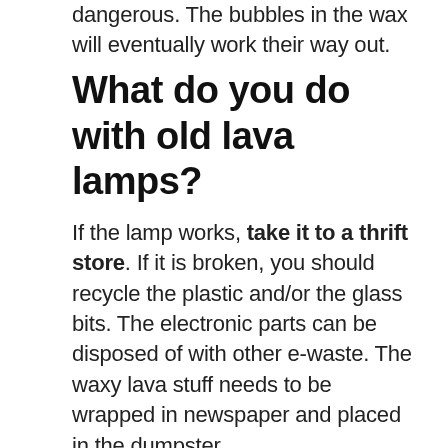dangerous. The bubbles in the wax will eventually work their way out.
What do you do with old lava lamps?
If the lamp works, take it to a thrift store. If it is broken, you should recycle the plastic and/or the glass bits. The electronic parts can be disposed of with other e-waste. The waxy lava stuff needs to be wrapped in newspaper and placed in the dumpster.
IT IS AMAZING: What is the reason for flickering of fluorescent lamp?